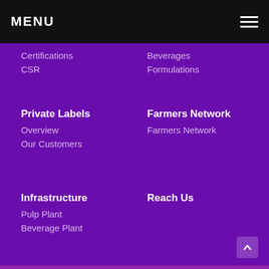MENU
Certifications
CSR
Beverages
Formulations
Private Labels
Overview
Our Customers
Farmers Network
Farmers Network
Infrastructure
Pulp Plant
Beverage Plant
Reach Us